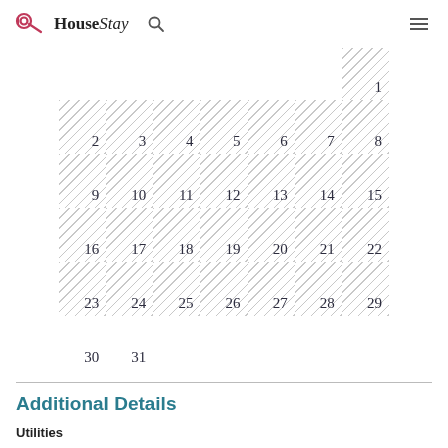HouseStay
[Figure (other): Monthly calendar showing dates 1-31. The cells with dates 1-29 are shown with a diagonal hatching pattern indicating unavailability. Dates 30 and 31 are plain white cells. The calendar has 7 columns (days of week) and 6 rows.]
Additional Details
Utilities